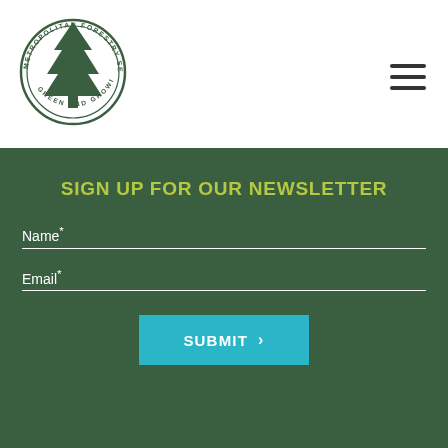[Figure (logo): Metropolitan Forestry Services circular logo with a green pine tree in the center and text 'METROPOLITAN FORESTRY SERVICES' and 'GREEN AND GROWING' around the border]
SIGN UP FOR OUR NEWSLETTER
Name*
Email*
SUBMIT >